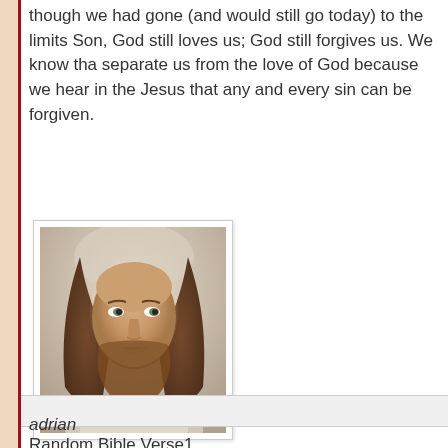though we had gone (and would still go today) to the limits Son, God still loves us; God still forgives us. We know tha separate us from the love of God because we hear in the Jesus that any and every sin can be forgiven.
[Figure (photo): Portrait image of Jesus Christ with long brown hair and beard, looking forward, wearing a white robe, with a soft/blurred painterly style]
adrian
Random Bible Verse1